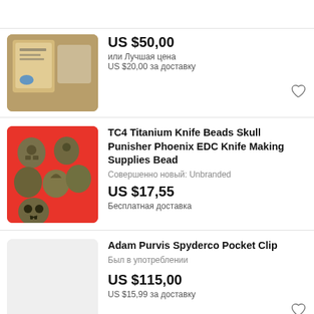[Figure (photo): Product photo of knife beads on wooden background with packaging]
US $50,00
или Лучшая цена
US $20,00 за доставку
[Figure (photo): TC4 Titanium knife beads on red background]
TC4 Titanium Knife Beads Skull Punisher Phoenix EDC Knife Making Supplies Bead
Совершенно новый: Unbranded
US $17,55
Бесплатная доставка
[Figure (photo): Light grey placeholder image for Adam Purvis Spyderco Pocket Clip]
Adam Purvis Spyderco Pocket Clip
Был в употреблении
US $115,00
US $15,99 за доставку
[Figure (photo): Partial image for Custom Paybar AGC Copper listing]
Custom Paybar AGC Copper. W/ Custom